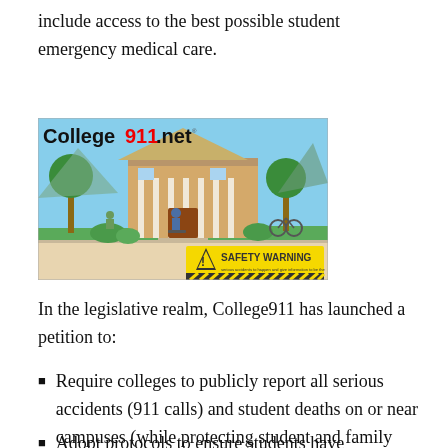include access to the best possible student emergency medical care.
[Figure (illustration): College911.net branded illustration showing a college campus building with students skateboarding and on scooters, with a yellow Safety Warning banner overlay at bottom right.]
In the legislative realm, College911 has launched a petition to:
Require colleges to publicly report all serious accidents (911 calls) and student deaths on or near campuses (while protecting student and family privacy)
Adopt protocols to ensure students have